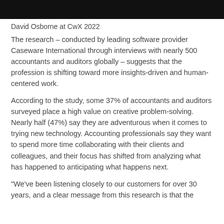[Figure (photo): Dark/black photo bar at top of page, likely showing David Osborne at CwX 2022 event, cropped]
David Osborne at CwX 2022
The research – conducted by leading software provider Caseware International through interviews with nearly 500 accountants and auditors globally – suggests that the profession is shifting toward more insights-driven and human-centered work.
According to the study, some 37% of accountants and auditors surveyed place a high value on creative problem-solving. Nearly half (47%) say they are adventurous when it comes to trying new technology. Accounting professionals say they want to spend more time collaborating with their clients and colleagues, and their focus has shifted from analyzing what has happened to anticipating what happens next.
"We've been listening closely to our customers for over 30 years, and a clear message from this research is that the